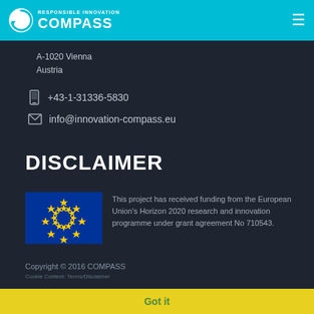[Figure (logo): Responsible Innovation COMPASS logo with circular arrow icon on teal header bar]
A-1020 Vienna
Austria
+43-1-31336-5830
info@innovation-compass.eu
DISCLAIMER
[Figure (illustration): European Union flag — blue background with circle of 12 yellow stars]
This project has received funding from the European Union's Horizon 2020 research and innovation programme under grant agreement No 710543.
Copyright © 2016 COMPASS
Cookie Content: Terms/Disclaimer
Got it